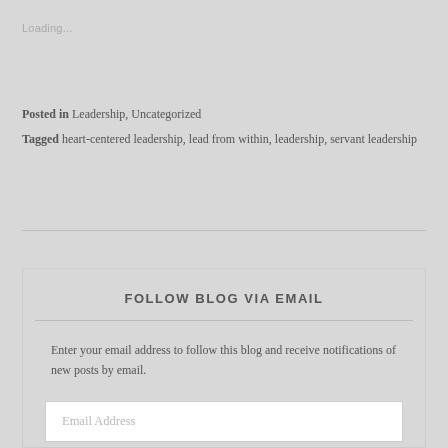Loading...
Posted in Leadership, Uncategorized
Tagged heart-centered leadership, lead from within, leadership, servant leadership
FOLLOW BLOG VIA EMAIL
Enter your email address to follow this blog and receive notifications of new posts by email.
Email Address